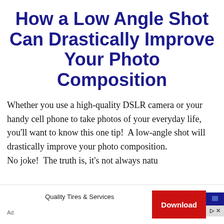How a Low Angle Shot Can Drastically Improve Your Photo Composition
Whether you use a high-quality DSLR camera or your handy cell phone to take photos of your everyday life, you'll want to know this one tip!  A low-angle shot will drastically improve your photo composition.
No joke!  The truth is, it's not always natu…
[Figure (other): Advertisement banner: Quality Tires & Services with a red Download button and blue/grey ad icons. Ad label at bottom left.]